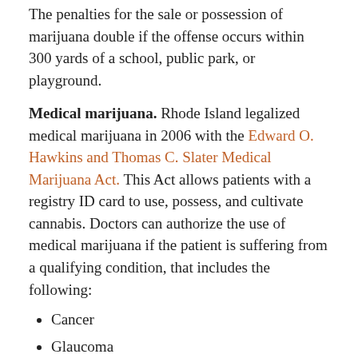The penalties for the sale or possession of marijuana double if the offense occurs within 300 yards of a school, public park, or playground.
Medical marijuana. Rhode Island legalized medical marijuana in 2006 with the Edward O. Hawkins and Thomas C. Slater Medical Marijuana Act. This Act allows patients with a registry ID card to use, possess, and cultivate cannabis. Doctors can authorize the use of medical marijuana if the patient is suffering from a qualifying condition, that includes the following:
Cancer
Glaucoma
HIV and AIDs
Hepatitis C
A chronic or debilitating disease or medical condition or its treatment that produces one or more of the following: